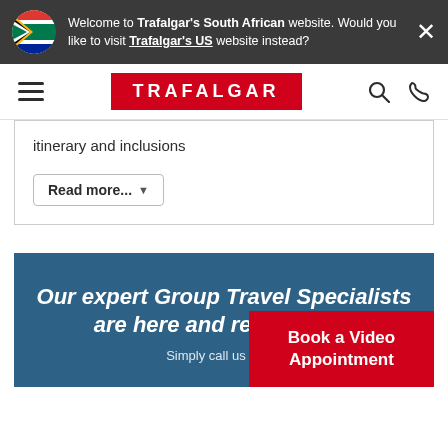Welcome to Trafalgar's South African website. Would you like to visit Trafalgar's US website instead?
[Figure (logo): Trafalgar logo - red background with white text TRAFALGAR]
itinerary and inclusions
Read more...
Our expert Group Travel Specialists are here and ready to h...
Simply call us on 01...
Book a Video Appointment